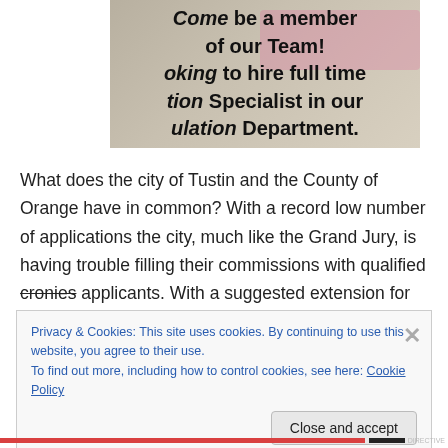[Figure (photo): Close-up photo of a printed job advertisement text reading: Come be a member of our Team! [Looking] to hire full time [Circula]tion Specialist in our [Circ]ulation Department.]
What does the city of Tustin and the County of Orange have in common? With a record low number of applications the city, much like the Grand Jury, is having trouble filling their commissions with qualified cronies applicants. With a suggested extension for interviews, the
Privacy & Cookies: This site uses cookies. By continuing to use this website, you agree to their use. To find out more, including how to control cookies, see here: Cookie Policy
Close and accept